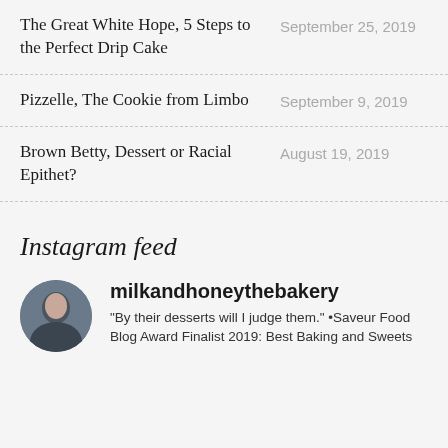The Great White Hope, 5 Steps to the Perfect Drip Cake — September 25, 2019
Pizzelle, The Cookie from Limbo — September 9, 2019
Brown Betty, Dessert or Racial Epithet? — August 19, 2019
Instagram feed
milkandhoneythebakery
"By their desserts will I judge them." •Saveur Food Blog Award Finalist 2019: Best Baking and Sweets